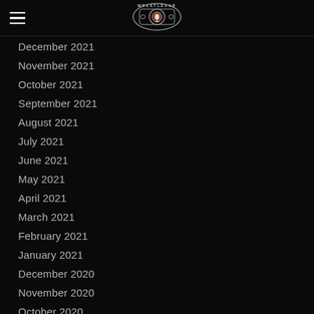Wrestleaar (logo)
December 2021
November 2021
October 2021
September 2021
August 2021
July 2021
June 2021
May 2021
April 2021
March 2021
February 2021
January 2021
December 2020
November 2020
October 2020
September 2020
August 2020
July 2020